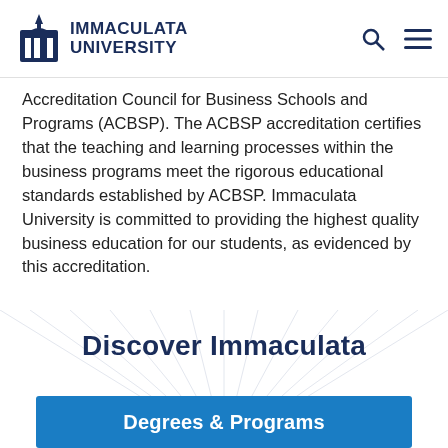Immaculata University
Accreditation Council for Business Schools and Programs (ACBSP). The ACBSP accreditation certifies that the teaching and learning processes within the business programs meet the rigorous educational standards established by ACBSP. Immaculata University is committed to providing the highest quality business education for our students, as evidenced by this accreditation.
Discover Immaculata
Degrees & Programs